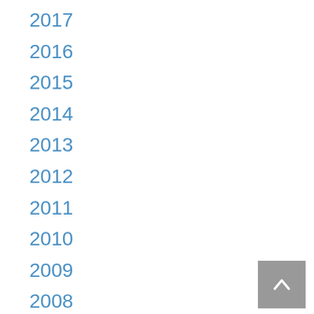2017
2016
2015
2014
2013
2012
2011
2010
2009
2008
2007
2006
2005
2004
2003